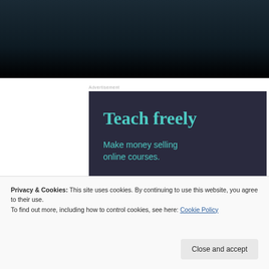[Figure (photo): Dark atmospheric photo at top of page, dark blue/black tones]
Advertisement
[Figure (infographic): Dark navy advertisement box with teal text reading 'Teach freely' and 'Make money selling online courses.']
Privacy & Cookies: This site uses cookies. By continuing to use this website, you agree to their use.
To find out more, including how to control cookies, see here: Cookie Policy
Close and accept